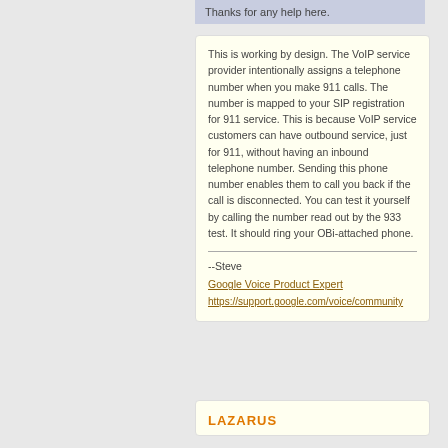Thanks for any help here.
This is working by design.  The VoIP service provider intentionally assigns a telephone number when you make 911 calls.  The number is mapped to your SIP registration for 911 service.  This is because VoIP service customers can have outbound service, just for 911, without having an inbound telephone number.  Sending this phone number enables them to call you back if the call is disconnected.  You can test it yourself by calling the number read out by the 933 test.  It should ring your OBi-attached phone.
--Steve
Google Voice Product Expert
https://support.google.com/voice/community
LAZARUS